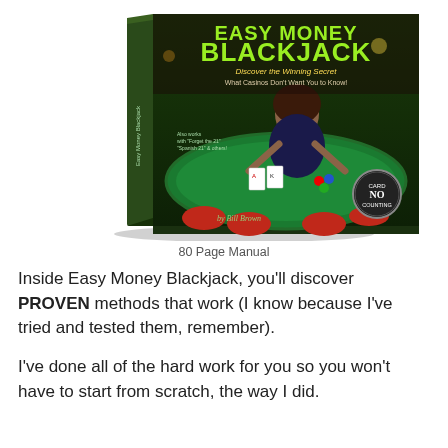[Figure (photo): Book cover of 'Easy Money Blackjack – Discover the Winning Secret. What Casinos Don't Want You to Know!' by Bill Brown. Shows a woman dealer at a blackjack table with a 'No Card Counting' badge.]
80 Page Manual
Inside Easy Money Blackjack, you'll discover PROVEN methods that work (I know because I've tried and tested them, remember).
I've done all of the hard work for you so you won't have to start from scratch, the way I did.